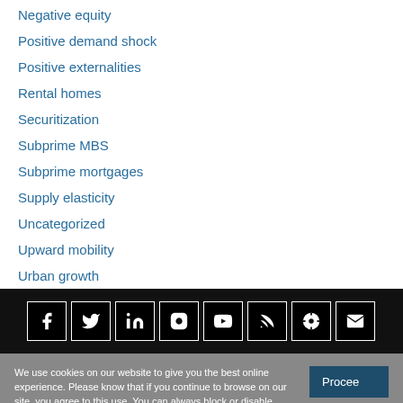Negative equity
Positive demand shock
Positive externalities
Rental homes
Securitization
Subprime MBS
Subprime mortgages
Supply elasticity
Uncategorized
Upward mobility
Urban growth
[Figure (other): Social media icon bar with Facebook, Twitter, LinkedIn, Instagram, YouTube, RSS, Podcast, and Email icons on black background]
We use cookies on our website to give you the best online experience. Please know that if you continue to browse on our site, you agree to this use. You can always block or disable cookies using your browser settings. To find out more, please review our privacy policy.